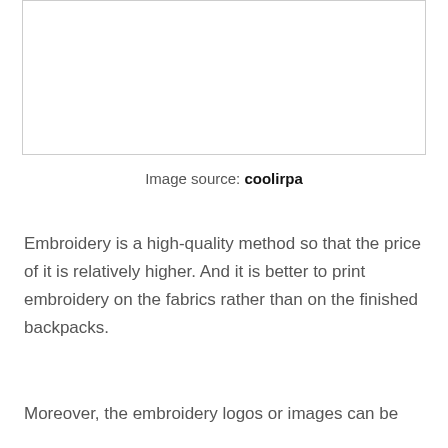[Figure (other): Empty white image box with light grey border]
Image source: coolirpa
Embroidery is a high-quality method so that the price of it is relatively higher. And it is better to print embroidery on the fabrics rather than on the finished backpacks.
Moreover, the embroidery logos or images can be